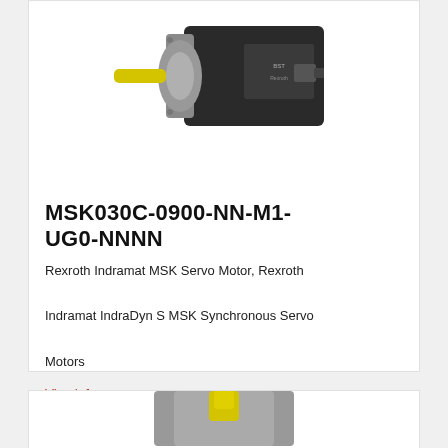[Figure (photo): Rexroth Indramat MSK servo motor with yellow shaft protector, side view showing flange mount and black motor body]
MSK030C-0900-NN-M1-UG0-NNNN
Rexroth Indramat MSK Servo Motor, Rexroth Indramat IndraDyn S MSK Synchronous Servo Motors
Viac info
[Figure (photo): Rexroth Indramat MSK servo motor partial view from below, yellow shaft visible]